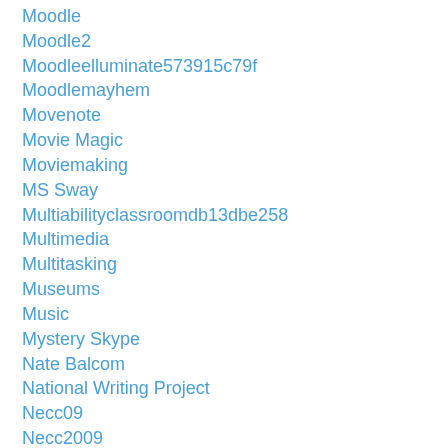Moodle
Moodle2
Moodleelluminate573915c79f
Moodlemayhem
Movenote
Movie Magic
Moviemaking
MS Sway
Multiabilityclassroomdb13dbe258
Multimedia
Multitasking
Museums
Music
Mystery Skype
Nate Balcom
National Writing Project
Necc09
Necc2009
Neccunplugged
Netvibes
News Literacy